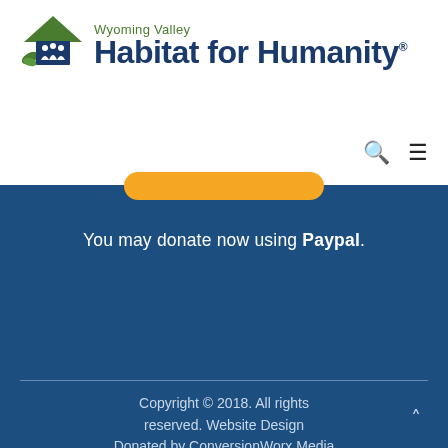[Figure (logo): Wyoming Valley Habitat for Humanity logo with green roof/people icon and dark blue text]
[Figure (other): Orange rounded rectangle button (partially visible) and search/menu icons in header navigation]
You may donate now using Paypal.
Copyright © 2018. All rights reserved. Website Design Donated by ConversionWorx Media